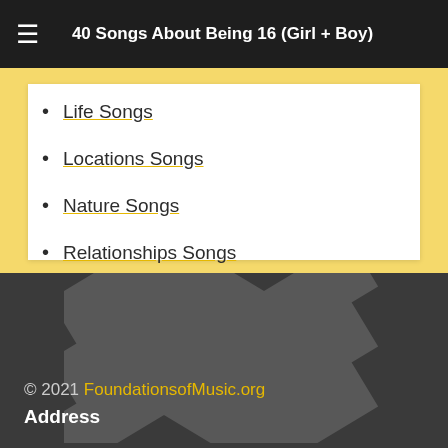40 Songs About Being 16 (Girl + Boy)
Life Songs
Locations Songs
Nature Songs
Relationships Songs
Things
© 2021 FoundationsofMusic.org Address